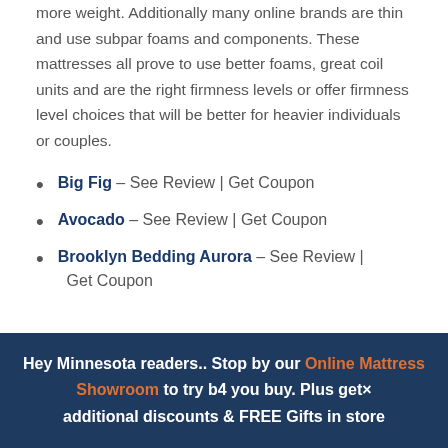more weight. Additionally many online brands are thin and use subpar foams and components. These mattresses all prove to use better foams, great coil units and are the right firmness levels or offer firmness level choices that will be better for heavier individuals or couples.
Big Fig – See Review | Get Coupon
Avocado – See Review | Get Coupon
Brooklyn Bedding Aurora – See Review | Get Coupon
Hey Minnesota readers.. Stop by our Online Mattress Showroom to try b4 you buy. Plus get× additional discounts & FREE Gifts in store